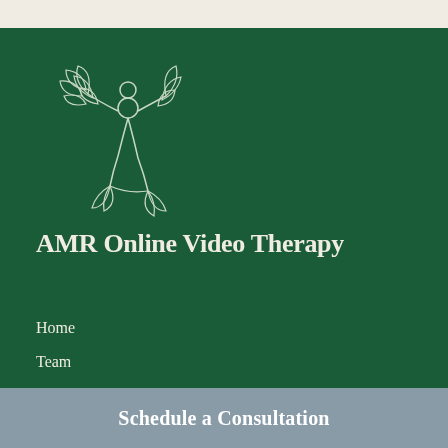[Figure (logo): AMR Online Video Therapy logo — an outline illustration of a person in a yoga/meditation pose with lotus leaves and flowing botanical elements, drawn in light cream/white lines on dark green background]
AMR Online Video Therapy
Home
Team
FAQs
Therapy Blog
Quick Pay
Client Portal
Schedule a Consultation
Schedule a Consultation